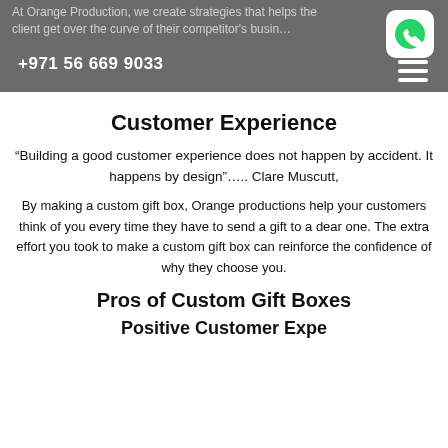At Orange Production, we create strategies that helps the client get over the curve of their competitor's business... +971 56 669 9033
Customer Experience
“Building a good customer experience does not happen by accident. It happens by design”….. Clare Muscutt,
By making a custom gift box, Orange productions help your customers think of you every time they have to send a gift to a dear one. The extra effort you took to make a custom gift box can reinforce the confidence of why they choose you.
Pros of Custom Gift Boxes
Positive Customer Experience